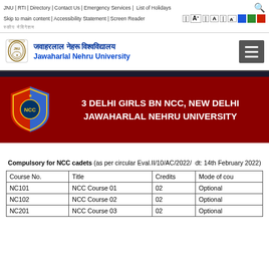JNU | RTI | Directory | Contact Us | Emergency Services | List of Holidays
Skip to main content | Accessibility Statement | Screen Reader | A+ | A | A-
जवाहरलाल नेहरू विश्वविद्यालय / Jawaharlal Nehru University
[Figure (logo): NCC logo badge with red and blue shield design]
3 DELHI GIRLS BN NCC, NEW DELHI JAWAHARLAL NEHRU UNIVERSITY
Compulsory for NCC cadets (as per circular Eval.II/10/AC/2022/ dt: 14th February 2022)
| Course No. | Title | Credits | Mode of cou |
| --- | --- | --- | --- |
| NC101 | NCC Course 01 | 02 | Optional |
| NC102 | NCC Course 02 | 02 | Optional |
| NC201 | NCC Course 03 | 02 | Optional |